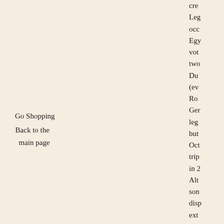Go Shopping
Back to the main page
cre
Leg
occ
Egy
vot
two
Du
(ev
Ro
Ger
leg
but
Oct
trip
in 2
Altt
son
disp
ext
lett
the
on
lion
wil
ide